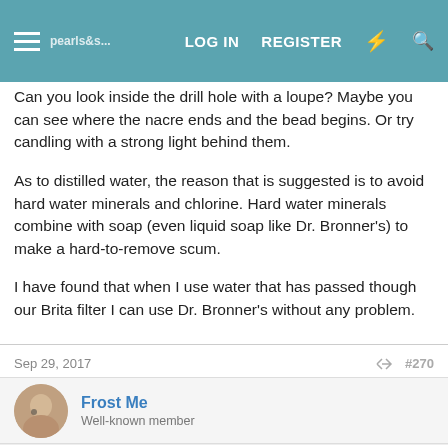LOG IN   REGISTER
Can you look inside the drill hole with a loupe? Maybe you can see where the nacre ends and the bead begins. Or try candling with a strong light behind them.
As to distilled water, the reason that is suggested is to avoid hard water minerals and chlorine. Hard water minerals combine with soap (even liquid soap like Dr. Bronner's) to make a hard-to-remove scum.
I have found that when I use water that has passed though our Brita filter I can use Dr. Bronner's without any problem.
Frost Me
Well-known member
Sep 29, 2017
#270
Pearl Dreams said: